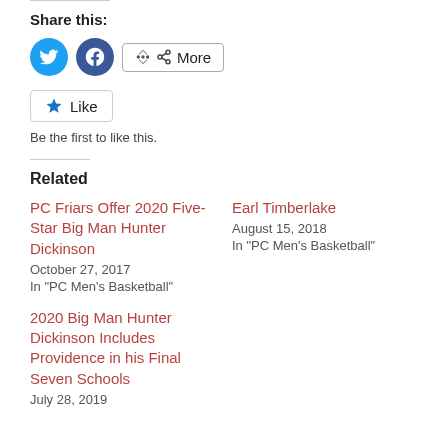Share this:
[Figure (infographic): Twitter and Facebook share buttons, and a More button]
[Figure (infographic): Like button (star icon) with text 'Be the first to like this.']
Be the first to like this.
Related
PC Friars Offer 2020 Five-Star Big Man Hunter Dickinson
October 27, 2017
In "PC Men's Basketball"
Earl Timberlake
August 15, 2018
In "PC Men's Basketball"
2020 Big Man Hunter Dickinson Includes Providence in his Final Seven Schools
July 28, 2019